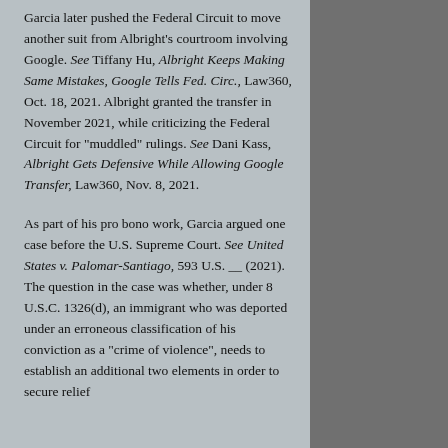Garcia later pushed the Federal Circuit to move another suit from Albright's courtroom involving Google. See Tiffany Hu, Albright Keeps Making Same Mistakes, Google Tells Fed. Circ., Law360, Oct. 18, 2021. Albright granted the transfer in November 2021, while criticizing the Federal Circuit for "muddled" rulings. See Dani Kass, Albright Gets Defensive While Allowing Google Transfer, Law360, Nov. 8, 2021.
As part of his pro bono work, Garcia argued one case before the U.S. Supreme Court. See United States v. Palomar-Santiago, 593 U.S. __ (2021). The question in the case was whether, under 8 U.S.C. 1326(d), an immigrant who was deported under an erroneous classification of his conviction as a "crime of violence", needs to establish an additional two elements in order to secure relief